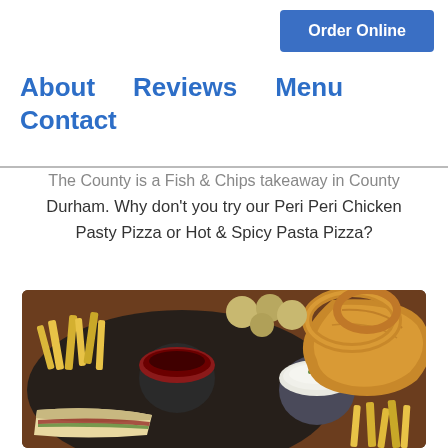Order Online
About   Reviews   Menu   Contact
The County is a Fish & Chips takeaway in County Durham. Why don't you try our Peri Peri Chicken Pasty Pizza or Hot & Spicy Pasta Pizza?
[Figure (photo): Top-down view of a fish and chips meal with dipping sauces, onion rings, chips/fries, battered fish, and a sandwich on a dark plate on a wooden table.]